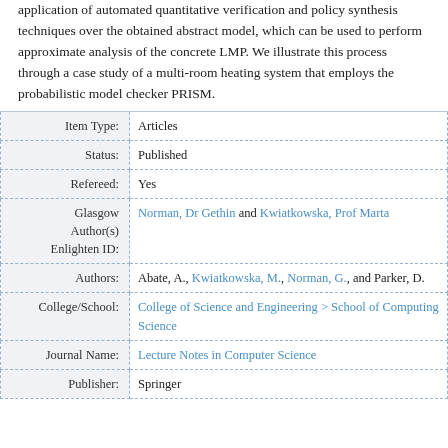application of automated quantitative verification and policy synthesis techniques over the obtained abstract model, which can be used to perform approximate analysis of the concrete LMP. We illustrate this process through a case study of a multi-room heating system that employs the probabilistic model checker PRISM.
| Field | Value |
| --- | --- |
| Item Type: | Articles |
| Status: | Published |
| Refereed: | Yes |
| Glasgow Author(s) Enlighten ID: | Norman, Dr Gethin and Kwiatkowska, Prof Marta |
| Authors: | Abate, A., Kwiatkowska, M., Norman, G., and Parker, D. |
| College/School: | College of Science and Engineering > School of Computing Science |
| Journal Name: | Lecture Notes in Computer Science |
| Publisher: | Springer |